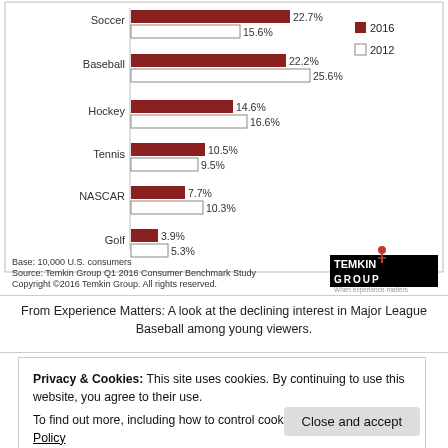[Figure (grouped-bar-chart): Sports fan interest (2016 vs 2012)]
From Experience Matters: A look at the declining interest in Major League Baseball among young viewers.
Privacy & Cookies: This site uses cookies. By continuing to use this website, you agree to their use.
To find out more, including how to control cookies, see here: Cookie Policy